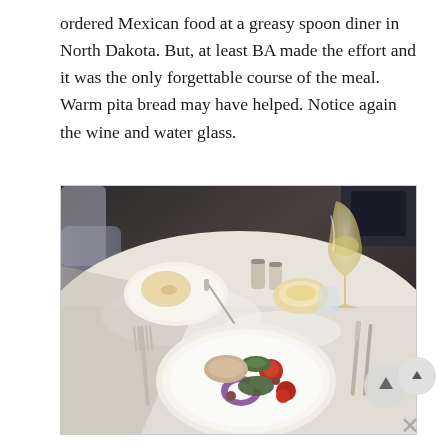ordered Mexican food at a greasy spoon diner in North Dakota. But, at least BA made the effort and it was the only forgettable course of the meal. Warm pita bread may have helped. Notice again the wine and water glass.
[Figure (photo): An airline first class meal tray with a white tablecloth, a plate with appetizers including colorful small dishes, a wine glass filled with white wine, salt and pepper shakers, a small bowl, a bread roll on a side plate with a knife, and cutlery (fork and knife) on either side.]